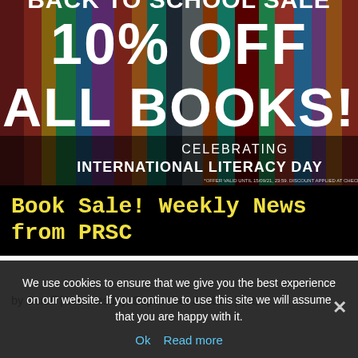[Figure (infographic): Back to School Sale banner with bookshelf background. Large white bold text reads '10% OFF ALL BOOKS!' with 'BACK TO SCHOOL SALE' at top. Lower section on dark overlay reads 'CELEBRATING INTERNATIONAL LITERACY DAY' with small footnote text '*OFFER VALID UNTIL 15/09/21, 23:59. DISCOUNT APPLIED AT CHECKOUT.']
Book Sale! Weekly News from PRSC
by Scruff | Wednesday, September 8, 2021 | Art,
We use cookies to ensure that we give you the best experience on our website. If you continue to use this site we will assume that you are happy with it.
Ok   Read more